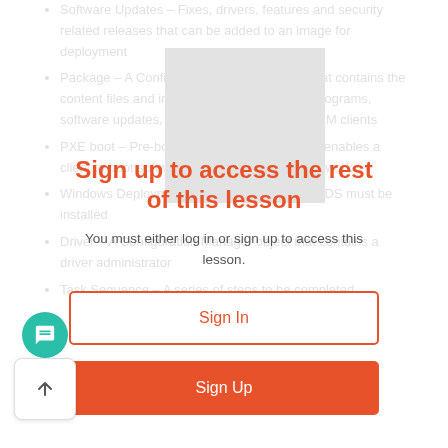Software Updates – Fixes, drivers, features and security related releases that can be added to an image for deployment
Package – A Configuration Manager object that contains the content files and instructions for distributing programs, software updates, OS images and drivers to CM clients
PXE boot – Pre-boot Execution Environment, enables a client to boot software remotely across the network
Windows Deployment Services – For OSD, WDS must be installed
Driver – A Configuration Manager object that contains a driver administrator
Task Sequence – A series of steps to be completed
[Figure (other): Gray image placeholder box]
Sign up to access the rest of this lesson
You must either log in or sign up to access this lesson.
Sign In
Sign Up